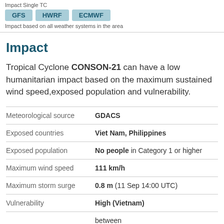Impact Single TC
GFS   HWRF   ECMWF
Impact based on all weather systems in the area
Impact
Tropical Cyclone CONSON-21 can have a low humanitarian impact based on the maximum sustained wind speed,exposed population and vulnerability.
|  |  |
| --- | --- |
| Meteorological source | GDACS |
| Exposed countries | Viet Nam, Philippines |
| Exposed population | No people in Category 1 or higher |
| Maximum wind speed | 111 km/h |
| Maximum storm surge | 0.8 m (11 Sep 14:00 UTC) |
| Vulnerability | High (Vietnam) |
|  | between 11 Sep 2021 10:00 - 12 Sep |